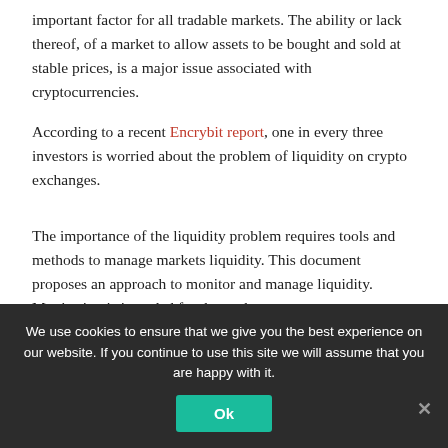important factor for all tradable markets. The ability or lack thereof, of a market to allow assets to be bought and sold at stable prices, is a major issue associated with cryptocurrencies.
According to a recent Encrybit report, one in every three investors is worried about the problem of liquidity on crypto exchanges.
The importance of the liquidity problem requires tools and methods to manage markets liquidity. This document proposes an approach to monitor and manage liquidity. Monitoring is intended for the exchange management to understand their platform's current liquidity level and how to improve it. Liquidity management starts with the
We use cookies to ensure that we give you the best experience on our website. If you continue to use this site we will assume that you are happy with it.